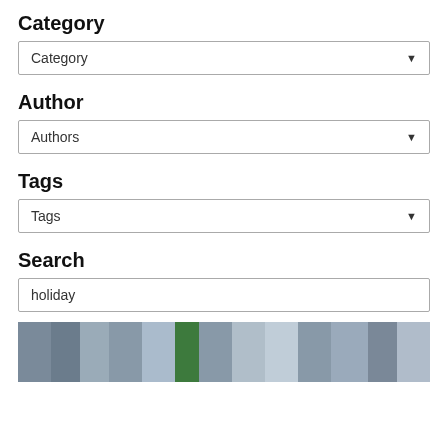Category
Category (dropdown)
Author
Authors (dropdown)
Tags
Tags (dropdown)
Search
holiday
[Figure (photo): A street scene photo showing an urban alley or road with a green car and buildings on both sides.]